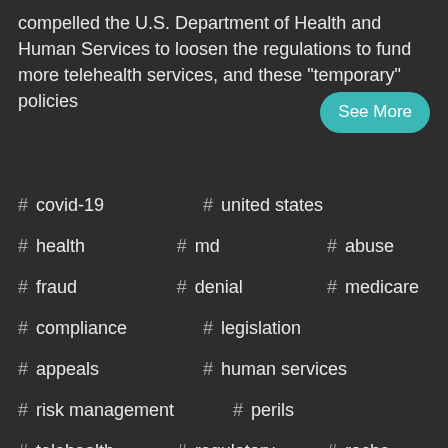compelled the U.S. Department of Health and Human Services to loosen the regulations to fund more telehealth services, and these "temporary" policies
See More
# covid-19
# united states
# health
# md
# abuse
# fraud
# denial
# medicare
# compliance
# legislation
# appeals
# human services
# risk management
# perils
# telehealth
# regulatory
# roche